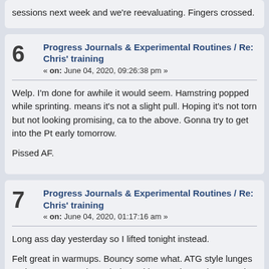sessions next week and we're reevaluating. Fingers crossed.
6  Progress Journals & Experimental Routines / Re: Chris' training
« on: June 04, 2020, 09:26:38 pm »
Welp. I'm done for awhile it would seem. Hamstring popped while sprinting. means it's not a slight pull. Hoping it's not torn but not looking promising, ca to the above. Gonna try to get into the Pt early tomorrow.

Pissed AF.
7  Progress Journals & Experimental Routines / Re: Chris' training
« on: June 04, 2020, 01:17:16 am »
Long ass day yesterday so I lifted tonight instead.

Felt great in warmups. Bouncy some what. ATG style lunges and some goo work. Ended up with some hang cleans and got my first 205lb HC. Not bad

In other notes refusing to step on a scale for a few.more days lol